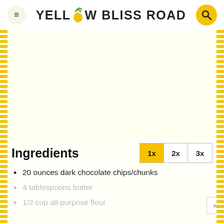Yellow Bliss Road
[Figure (photo): Large image area showing a recipe photo (appears blank/white in this view)]
Ingredients
20 ounces dark chocolate chips/chunks
4 tablespoons butter
1/2 cup all-purpose flour